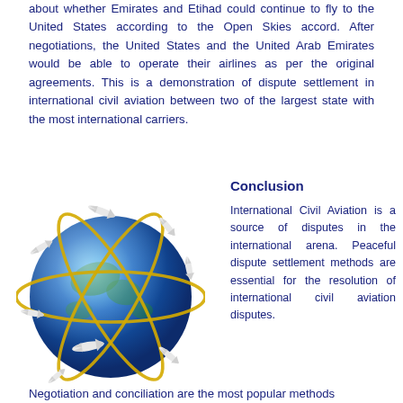about whether Emirates and Etihad could continue to fly to the United States according to the Open Skies accord. After negotiations, the United States and the United Arab Emirates would be able to operate their airlines as per the original agreements. This is a demonstration of dispute settlement in international civil aviation between two of the largest state with the most international carriers.
[Figure (illustration): A blue globe with multiple silver airplanes flying around it in different directions, wrapped with golden orbit-like rings, symbolizing international civil aviation routes.]
Conclusion
International Civil Aviation is a source of disputes in the international arena. Peaceful dispute settlement methods are essential for the resolution of international civil aviation disputes.
Negotiation and conciliation are the most popular methods